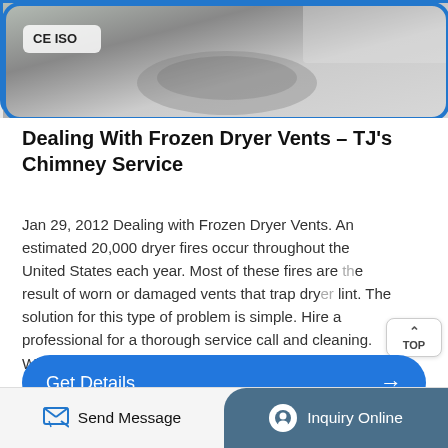[Figure (photo): Close-up photo of a metallic dryer vent or similar appliance component with a CE ISO certification label visible in the upper left. The image has a blue rounded border.]
Dealing With Frozen Dryer Vents - TJ's Chimney Service
Jan 29, 2012 Dealing with Frozen Dryer Vents. An estimated 20,000 dryer fires occur throughout the United States each year. Most of these fires are the result of worn or damaged vents that trap dryer lint. The solution for this type of problem is simple. Hire a professional for a thorough service call and cleaning. While having your vents professionally ...
Get Details →
Send Message
Inquiry Online